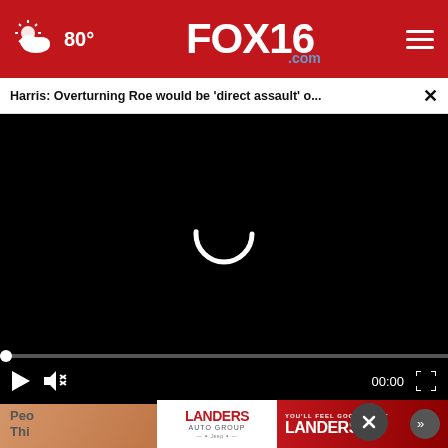FOX16.com — weather 80° navigation header
Harris: Overturning Roe would be 'direct assault' o...
[Figure (screenshot): Video player showing loading spinner on black background with playback controls: play button, mute icon, timestamp 00:00, and fullscreen button]
[Figure (photo): Partial thumbnail of a person's hand/skin visible at bottom left]
[Figure (logo): Landers Auto Group advertisement banner with white logo on left and red YOU'LL FEEL GOOD ABOUT LANDERS text with arrow button on right]